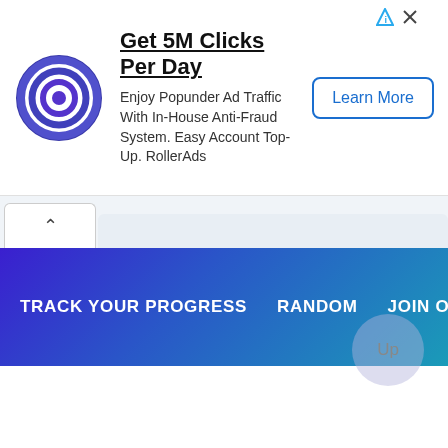[Figure (infographic): Ad banner for RollerAds showing concentric circle target logo, headline 'Get 5M Clicks Per Day', description text, and Learn More button]
Get 5M Clicks Per Day
Enjoy Popunder Ad Traffic With In-House Anti-Fraud System. Easy Account Top-Up. RollerAds
TRACK YOUR PROGRESS   RANDOM   JOIN OUR INTE
Up